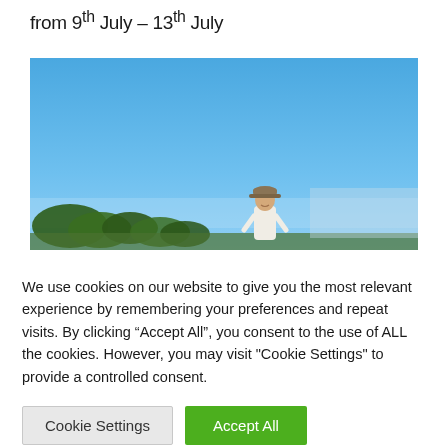from 9th July – 13th July
[Figure (photo): A person standing outdoors under a bright blue sky with trees/bushes visible in the background at the bottom of the image.]
We use cookies on our website to give you the most relevant experience by remembering your preferences and repeat visits. By clicking “Accept All”, you consent to the use of ALL the cookies. However, you may visit "Cookie Settings" to provide a controlled consent.
Cookie Settings   Accept All